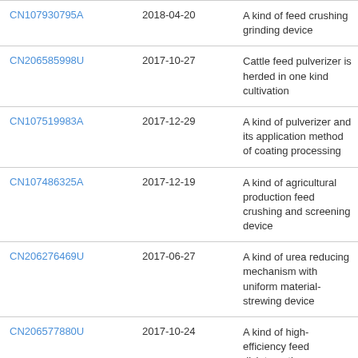| CN107930795A | 2018-04-20 | A kind of feed crushing grinding device |
| CN206585998U | 2017-10-27 | Cattle feed pulverizer is herded in one kind cultivation |
| CN107519983A | 2017-12-29 | A kind of pulverizer and its application method of coating processing |
| CN107486325A | 2017-12-19 | A kind of agricultural production feed crushing and screening device |
| CN206276469U | 2017-06-27 | A kind of urea reducing mechanism with uniform material-strewing device |
| CN206577880U | 2017-10-24 | A kind of high-efficiency feed disintegrating apparatus |
| CN205361586U | 2016-07-06 | Integrative multi-stage reduction device |